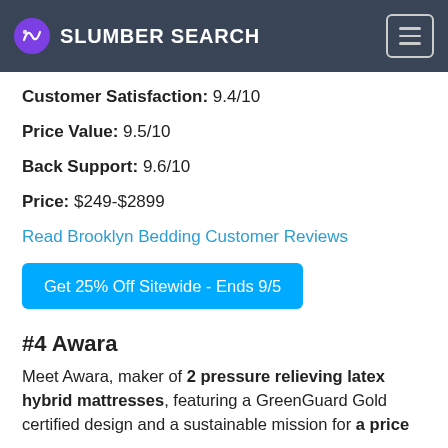SLUMBER SEARCH
Customer Satisfaction: 9.4/10
Price Value: 9.5/10
Back Support: 9.6/10
Price: $249-$2899
Read Brooklyn Bedding Customer Reviews
Get 25% Off Sitewide - Ends 9/5
#4 Awara
Meet Awara, maker of 2 pressure relieving latex hybrid mattresses, featuring a GreenGuard Gold certified design and a sustainable mission for a price